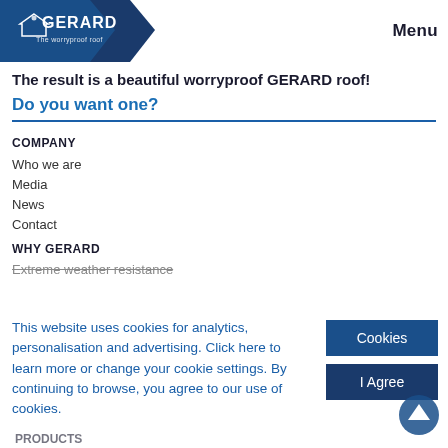GERARD — The worryproof roof | Menu
The result is a beautiful worryproof GERARD roof!
Do you want one?
COMPANY
Who we are
Media
News
Contact
WHY GERARD
Extreme weather resistance
This website uses cookies for analytics, personalisation and advertising. Click here to learn more or change your cookie settings. By continuing to browse, you agree to our use of cookies.
Cookies
I Agree
PRODUCTS